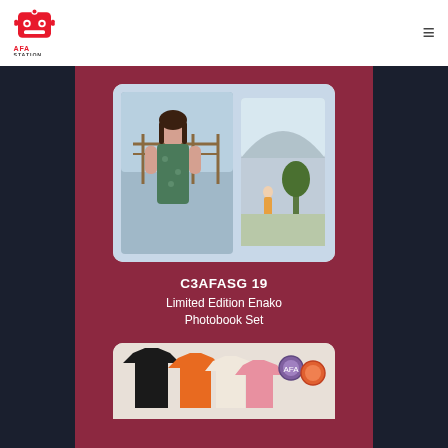[Figure (logo): AFA Station logo with red robot head icon and text AFA STATION]
[Figure (photo): Limited Edition Enako Photobook Set - photo cards showing a cosplayer woman and a building/outdoor scene]
C3AFASG 19
Limited Edition Enako Photobook Set
[Figure (photo): Partially visible product image showing t-shirts and keychains merchandise]